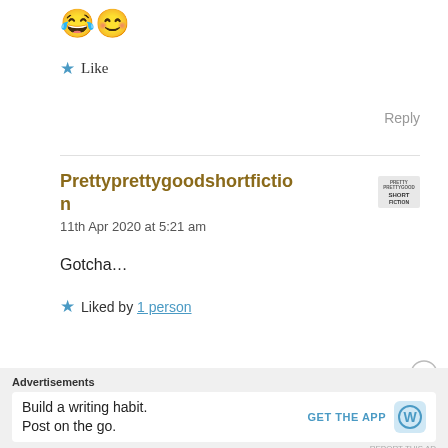😂😊
★ Like
Reply
Prettyprettygoodshortfiction
11th Apr 2020 at 5:21 am
Gotcha…
★ Liked by 1 person
Advertisements
Build a writing habit. Post on the go.
GET THE APP
REPORT THIS AD